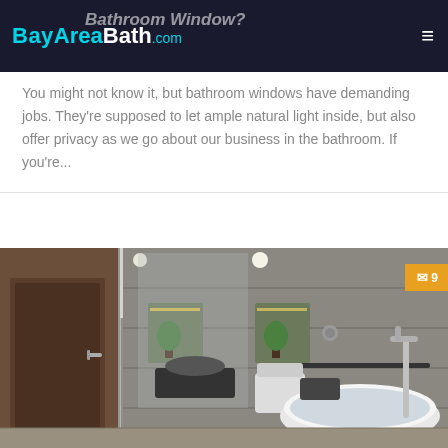BayAreaBath.com
Bathroom Window?
You might not know it, but bathroom windows have demanding jobs. They're supposed to let ample natural light inside, but also offer privacy as we go about our business in the bathroom. If you're...
[Figure (photo): Modern luxury bathroom interior with glass shower enclosure, freestanding bathtub with chrome faucet, grey stone tile walls, recessed lighting, and wooden door visible on left side. Comment badge showing 9 comments in orange.]